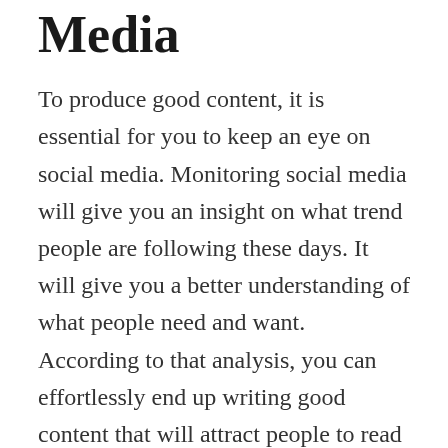Media
To produce good content, it is essential for you to keep an eye on social media. Monitoring social media will give you an insight on what trend people are following these days. It will give you a better understanding of what people need and want. According to that analysis, you can effortlessly end up writing good content that will attract people to read it. Social media can also help you find new ideas for your products or services. Hence, you must get on this platform before anything else.